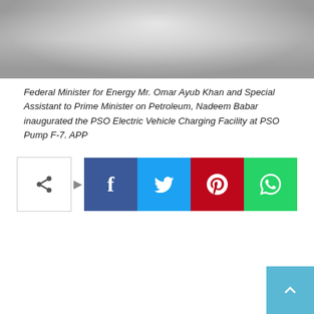[Figure (photo): Photo of Federal Minister for Energy Mr. Omar Ayub Khan and Special Assistant to Prime Minister on Petroleum, Nadeem Babar at PSO Electric Vehicle Charging Facility inauguration at PSO Pump F-7.]
Federal Minister for Energy Mr. Omar Ayub Khan and Special Assistant to Prime Minister on Petroleum, Nadeem Babar inaugurated the PSO Electric Vehicle Charging Facility at PSO Pump F-7. APP
[Figure (infographic): Social media share buttons: generic share icon, Facebook, Twitter, Pinterest, WhatsApp]